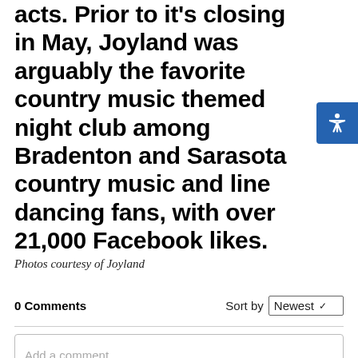acts. Prior to it's closing in May, Joyland was arguably the favorite country music themed night club among Bradenton and Sarasota country music and line dancing fans, with over 21,000 Facebook likes.
Photos courtesy of Joyland
0 Comments   Sort by Newest
Add a comment...